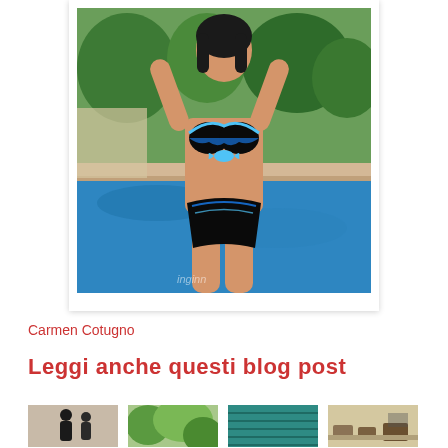[Figure (photo): A woman in a patterned blue-black-white bikini posing by a swimming pool with green trees in the background. Watermark text 'inginn' visible at bottom.]
Carmen Cotugno
Leggi anche questi blog post
[Figure (photo): Thumbnail 1: silhouette figures]
[Figure (photo): Thumbnail 2: green foliage]
[Figure (photo): Thumbnail 3: teal knit/textile]
[Figure (photo): Thumbnail 4: outdoor seating area]